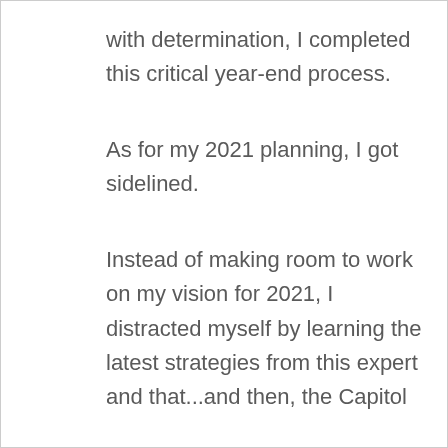with determination, I completed this critical year-end process.
As for my 2021 planning, I got sidelined.
Instead of making room to work on my vision for 2021, I distracted myself by learning the latest strategies from this expert and that...and then, the Capitol